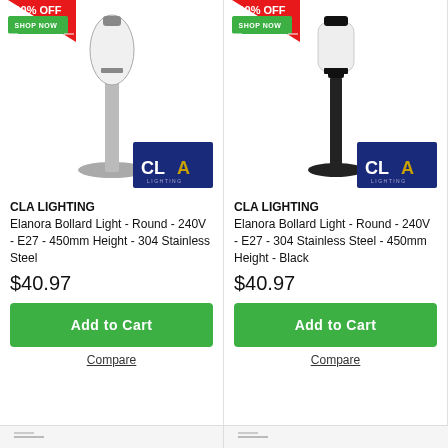[Figure (photo): CLA Lighting Elanora Bollard Light stainless steel finish, round, 450mm height, with CLA LIGHTING logo badge. Red '10% OFF SHOP NOW' badge in top-left corner.]
[Figure (photo): CLA Lighting Elanora Bollard Light black finish, round, 450mm height, with CLA LIGHTING logo badge. Red '10% OFF SHOP NOW' badge in top-left corner.]
CLA LIGHTING
Elanora Bollard Light - Round - 240V - E27 - 450mm Height - 304 Stainless Steel
$40.97
Add to Cart
Compare
CLA LIGHTING
Elanora Bollard Light - Round - 240V - E27 - 304 Stainless Steel - 450mm Height - Black
$40.97
Add to Cart
Compare